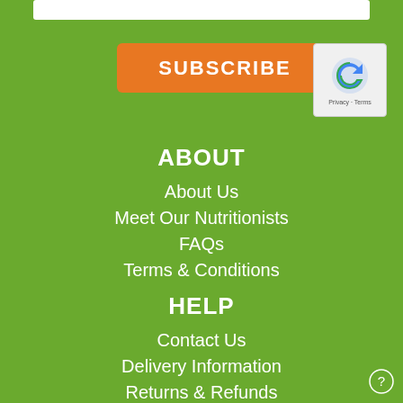[Figure (other): White input/text field bar at the top of the page]
[Figure (other): Orange SUBSCRIBE button]
[Figure (other): reCAPTCHA widget box showing a blue arrow icon and Privacy - Terms text]
ABOUT
About Us
Meet Our Nutritionists
FAQs
Terms & Conditions
HELP
Contact Us
Delivery Information
Returns & Refunds